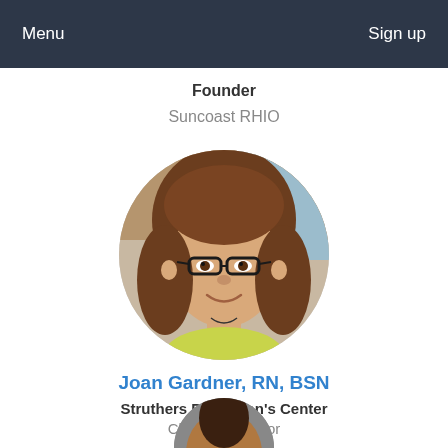Menu  Sign up
Founder
Suncoast RHIO
[Figure (photo): Circular profile photo of a woman with brown shoulder-length hair and glasses, smiling]
Joan Gardner, RN, BSN
Struthers Parkinson's Center
Clinic Supervisor
[Figure (photo): Partial circular profile photo at bottom of page, appears to be the next person in the list]